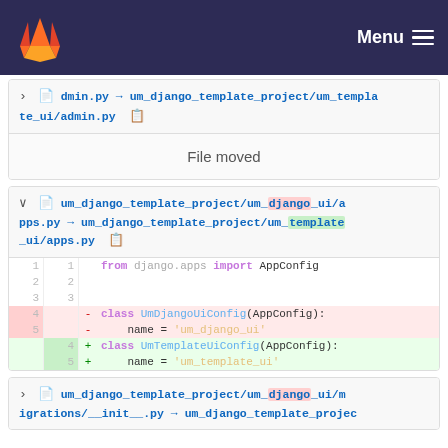GitLab navigation bar with logo and Menu
dmin.py → um_django_template_project/um_template_ui/admin.py [copy button]
File moved
um_django_template_project/um_django_ui/apps.py → um_django_template_project/um_template_ui/apps.py [copy button]
[Figure (screenshot): Code diff showing apps.py file changes: removed class UmDjangoUiConfig with name 'um_django_ui', added class UmTemplateUiConfig with name 'um_template_ui'. Line 1: from django.apps import AppConfig. Lines 4-5 deleted (red): class UmDjangoUiConfig(AppConfig): name = 'um_django_ui'. Lines 4-5 added (green): class UmTemplateUiConfig(AppConfig): name = 'um_template_ui'.]
um_django_template_project/um_django_ui/migrations/__init__.py → um_django_template_projec